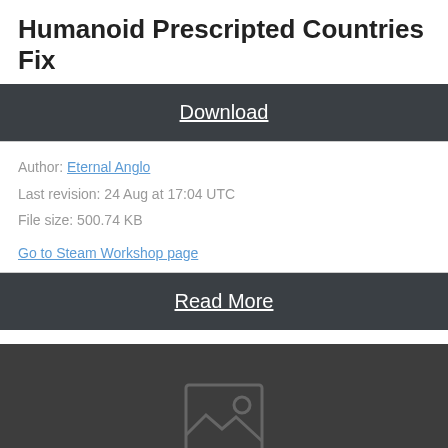Humanoid Prescripted Countries Fix
Download
Author: Eternal Anglo
Last revision: 24 Aug at 17:04 UTC
File size: 500.74 KB
Go to Steam Workshop page
Read More
[Figure (illustration): Dark grey placeholder image area with a grey image placeholder icon in the center]